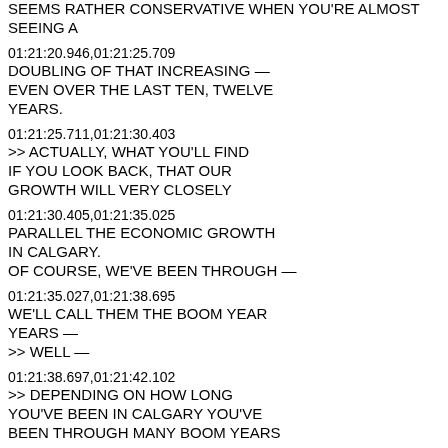SEEMS RATHER CONSERVATIVE WHEN YOU'RE ALMOST SEEING A
01:21:20.946,01:21:25.709
DOUBLING OF THAT INCREASING — EVEN OVER THE LAST TEN, TWELVE YEARS.
01:21:25.711,01:21:30.403
>> ACTUALLY, WHAT YOU'LL FIND IF YOU LOOK BACK, THAT OUR GROWTH WILL VERY CLOSELY
01:21:30.405,01:21:35.025
PARALLEL THE ECONOMIC GROWTH IN CALGARY.
OF COURSE, WE'VE BEEN THROUGH —
01:21:35.027,01:21:38.695
WE'LL CALL THEM THE BOOM YEAR YEARS —
>> WELL —
01:21:38.697,01:21:42.102
>> DEPENDING ON HOW LONG YOU'VE BEEN IN CALGARY YOU'VE BEEN THROUGH MANY BOOM YEARS
01:21:42.104,01:21:45.801